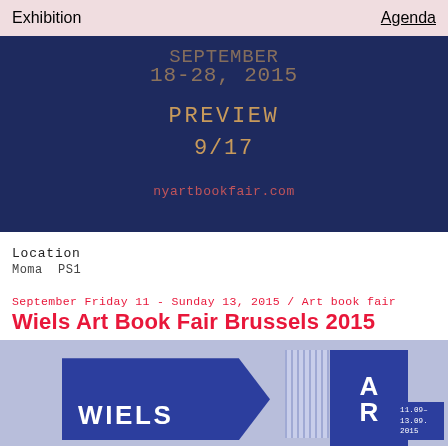Exhibition   Agenda
[Figure (illustration): Dark navy blue banner with golden/orange text showing 'SEPTEMBER 18-28, 2015 PREVIEW 9/17' and a red-pink URL 'nyartbookfair.com']
Location
Moma  PS1
September Friday 11 - Sunday 13, 2015 / Art book fair
Wiels Art Book Fair Brussels 2015
[Figure (illustration): Blue-grey dotted/speckled background with dark blue pentagon/arrow shape on left showing 'WIELS' text in white, a striped column, a tall blue rectangle with 'A' and 'R' letters in white, and a small blue date box '11.09-13.09.2015']